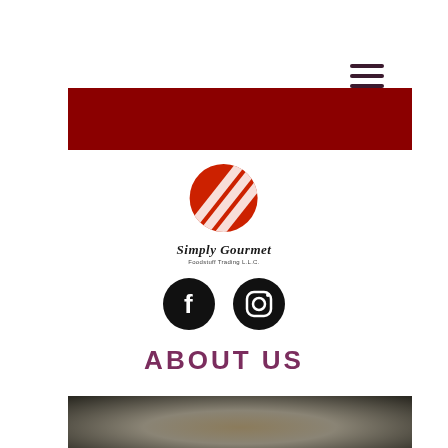[Figure (other): Hamburger menu icon (three horizontal dark purple lines) in top right corner]
[Figure (other): Dark red/maroon horizontal banner strip]
[Figure (logo): Simply Gourmet Foodstuff Trading L.L.C. logo — red circle with diagonal white stripes, script text below]
[Figure (other): Facebook and Instagram social media icons (black circles with white symbols)]
ABOUT US
[Figure (photo): Blurred dark photo of food item being held by hands, dark background]